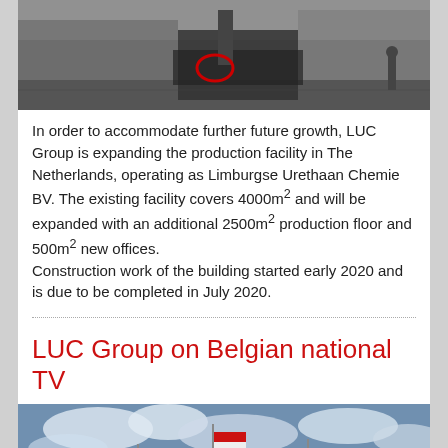[Figure (photo): Black and white photo of a construction site with heavy machinery (excavator/drill rig), a red circle highlighting a detail on the equipment, trees in background, a worker visible on the right.]
In order to accommodate further future growth, LUC Group is expanding the production facility in The Netherlands, operating as Limburgse Urethaan Chemie BV. The existing facility covers 4000m² and will be expanded with an additional 2500m² production floor and 500m² new offices.
Construction work of the building started early 2020 and is due to be completed in July 2020.
LUC Group on Belgian national TV
[Figure (photo): Colour photo of multiple national flags on flagpoles against a partly cloudy blue sky. Flags include Germany, Netherlands, Hungary, Belgium and others.]